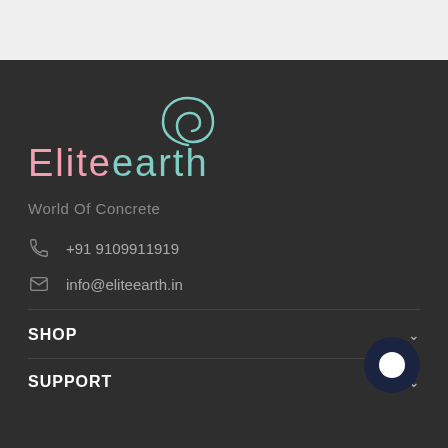[Figure (logo): Eliteearth logo with teal spiral above pink and teal stylized text reading 'Eliteearth']
World Of Concrete
+91 9109911919
info@eliteearth.in
SHOP
SUPPORT